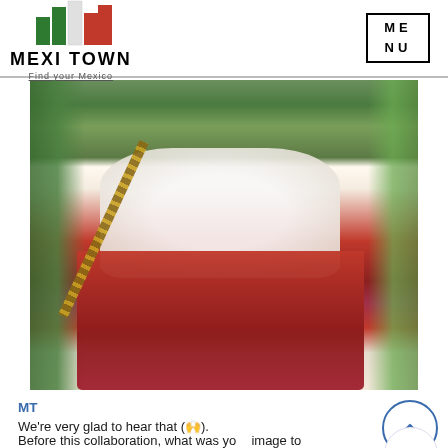MEXI TOWN Find your Mexico | MENU
[Figure (photo): Woman in white shirt and red ruffled skirt holding two tequila bottles, with a bullet bandolier across her chest, standing in front of cacti and a wooden fence]
MT
We’re very glad to hear that (emoji).
Before this collaboration, what was your image to Tequila? And after being the ambassador, how does it change your image